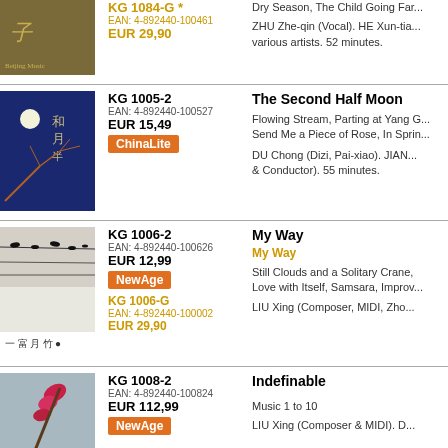KG 1084-G * | EAN: 4-892440-100461 | EUR 29,90 | Dry Season, The Child Going Far... | ZHU Zhe-qin (Vocal). HE Xun-tia... various artists. 52 minutes.
KG 1005-2 | EAN: 4-892440-100527 | EUR 15,49 | ChinaLite | The Second Half Moon | Flowing Stream, Parting at Yang G... Send Me a Piece of Rose, In Sprin... | DU Chong (Dizi, Pai-xiao). JIAN... & Conductor). 55 minutes.
KG 1006-2 | EAN: 4-892440-100626 | EUR 12,99 | NewAge | My Way | My Way | Still Clouds and a Solitary Crane, Love with Itself, Samsara, Improv... | LIU Xing (Composer, MIDI, Zho... | KG 1006-G | EAN: 4-892440-100002 | EUR 29,90
KG 1008-2 | EAN: 4-892440-100824 | EUR 112,99 | NewAge | Indefinable | Music 1 to 10 | LIU Xing (Composer & MIDI). D...